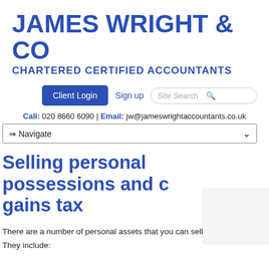JAMES WRIGHT & CO
CHARTERED CERTIFIED ACCOUNTANTS
[Figure (screenshot): Navigation bar with Client Login button, Sign up link, and Site Search box]
Call: 020 8660 6090 | Email: jw@jameswrightaccountants.co.uk
⇒ Navigate
Selling personal possessions and capital gains tax
There are a number of personal assets that you can sell without a risk
They include: